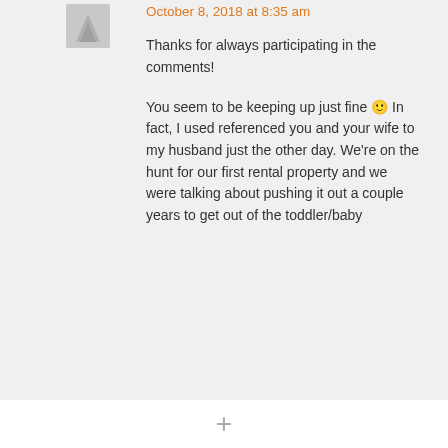October 8, 2018 at 8:35 am
Thanks for always participating in the comments!
You seem to be keeping up just fine 🙂 In fact, I used referenced you and your wife to my husband just the other day. We're on the hunt for our first rental property and we were talking about pushing it out a couple years to get out of the toddler/baby